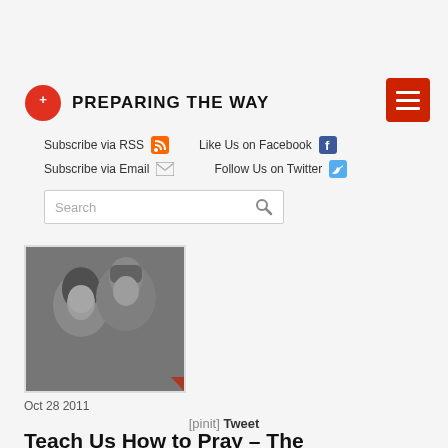PREPARING THE WAY
Subscribe via RSS   Like Us on Facebook
Subscribe via Email   Follow Us on Twitter
[Figure (screenshot): Search box with magnifying glass icon]
[Figure (photo): Black and white photo of a couple, woman and man]
Oct 28 2011
[pinit] Tweet
Teach Us How to Pray – The